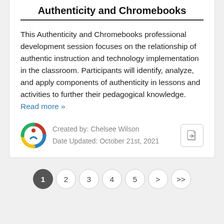Authenticity and Chromebooks
This Authenticity and Chromebooks professional development session focuses on the relationship of authentic instruction and technology implementation in the classroom. Participants will identify, analyze, and apply components of authenticity in lessons and activities to further their pedagogical knowledge. Read more »
Created by: Chelsee Wilson
Date Updated: October 21st, 2021
1 2 3 4 5 > >>